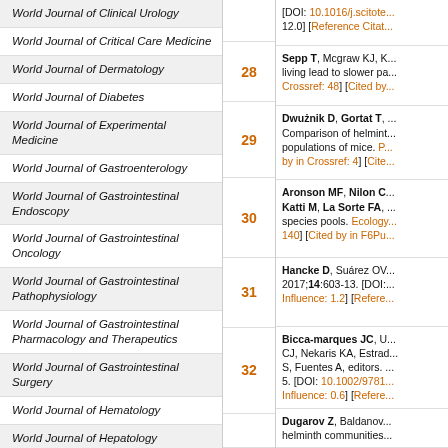World Journal of Clinical Urology
World Journal of Critical Care Medicine
World Journal of Dermatology
World Journal of Diabetes
World Journal of Experimental Medicine
World Journal of Gastroenterology
World Journal of Gastrointestinal Endoscopy
World Journal of Gastrointestinal Oncology
World Journal of Gastrointestinal Pathophysiology
World Journal of Gastrointestinal Pharmacology and Therapeutics
World Journal of Gastrointestinal Surgery
World Journal of Hematology
World Journal of Hepatology
World Journal of Hypertension
World Journal of Immunology
World Journal of Medical Genetics
28 - Sepp T, Mcgraw KJ, K... living lead to slower pa... Crossref: 48] [Cited by...
29 - Dwużnik D, Gortat T, ... Comparison of helmint... populations of mice. P... by in Crossref: 4] [Cite...
30 - Aronson MF, Nilon C... Katti M, La Sorte FA, ... species pools. Ecology... 140] [Cited by in F6Pu...
31 - Hancke D, Suárez OV... 2017;14:603-13. [DOI:... Influence: 1.2] [Refere...
32 - Bicca-marques JC, U... CJ, Nekaris KA, Estrad... S, Fuentes A, editors. ... 5. [DOI: 10.1002/9781... Influence: 0.6] [Refere...
33 - Dugarov Z, Baldanov... helminth communities...